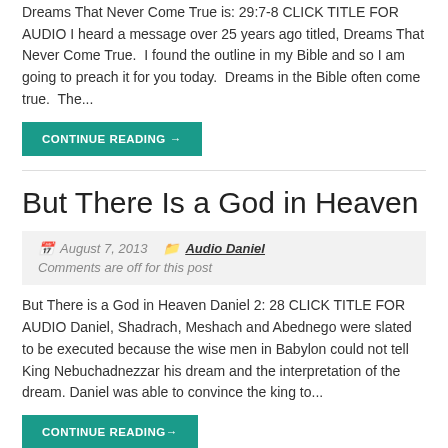Dreams That Never Come True is: 29:7-8 CLICK TITLE FOR AUDIO I heard a message over 25 years ago titled, Dreams That Never Come True.  I found the outline in my Bible and so I am going to preach it for you today.  Dreams in the Bible often come true.  The...
CONTINUE READING→
But There Is a God in Heaven
August 7, 2013   Audio Daniel   Comments are off for this post
But There is a God in Heaven Daniel 2: 28 CLICK TITLE FOR AUDIO Daniel, Shadrach, Meshach and Abednego were slated to be executed because the wise men in Babylon could not tell King Nebuchadnezzar his dream and the interpretation of the dream. Daniel was able to convince the king to...
CONTINUE READING→